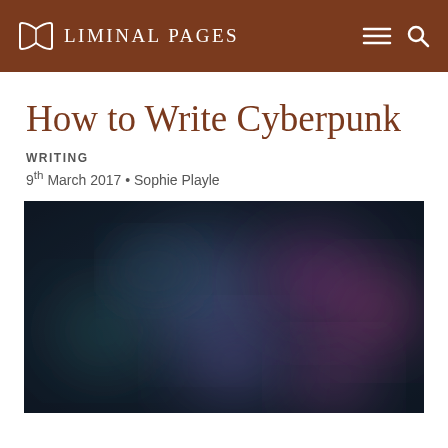LIMINAL PAGES
How to Write Cyberpunk
WRITING
9th March 2017 • Sophie Playle
[Figure (photo): Abstract blurred photo with dark teal and purple/magenta bokeh light spots on a dark background]